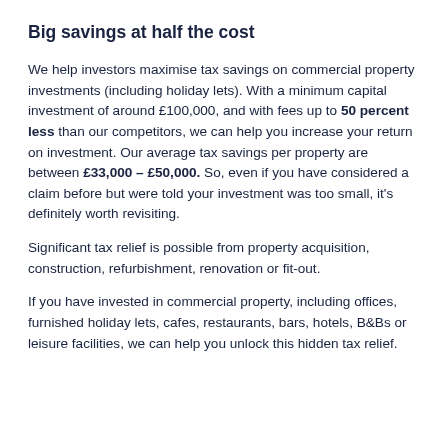Big savings at half the cost
We help investors maximise tax savings on commercial property investments (including holiday lets). With a minimum capital investment of around £100,000, and with fees up to 50 percent less than our competitors, we can help you increase your return on investment. Our average tax savings per property are between £33,000 – £50,000. So, even if you have considered a claim before but were told your investment was too small, it's definitely worth revisiting.
Significant tax relief is possible from property acquisition, construction, refurbishment, renovation or fit-out.
If you have invested in commercial property, including offices, furnished holiday lets, cafes, restaurants, bars, hotels, B&Bs or leisure facilities, we can help you unlock this hidden tax relief.